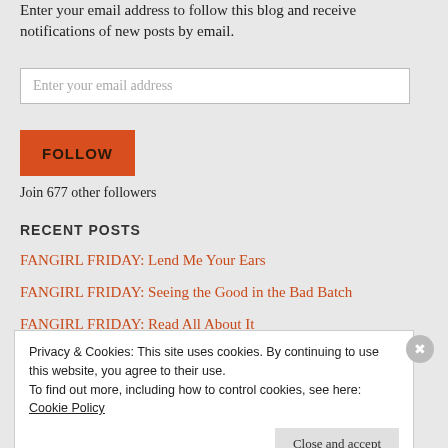Enter your email address to follow this blog and receive notifications of new posts by email.
Enter your email address
FOLLOW
Join 677 other followers
RECENT POSTS
FANGIRL FRIDAY: Lend Me Your Ears
FANGIRL FRIDAY: Seeing the Good in the Bad Batch
FANGIRL FRIDAY: Read All About It
Privacy & Cookies: This site uses cookies. By continuing to use this website, you agree to their use.
To find out more, including how to control cookies, see here: Cookie Policy
Close and accept